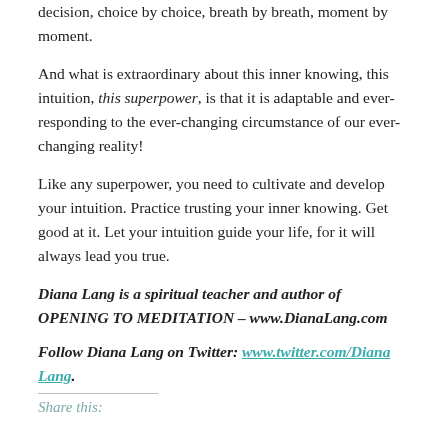decision, choice by choice, breath by breath, moment by moment.
And what is extraordinary about this inner knowing, this intuition, this superpower, is that it is adaptable and ever-responding to the ever-changing circumstance of our ever-changing reality!
Like any superpower, you need to cultivate and develop your intuition. Practice trusting your inner knowing. Get good at it. Let your intuition guide your life, for it will always lead you true.
Diana Lang is a spiritual teacher and author of OPENING TO MEDITATION – www.DianaLang.com
Follow Diana Lang on Twitter: www.twitter.com/DianaLang.
Share this: